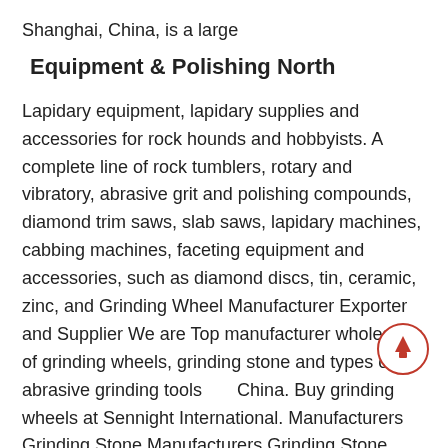Shanghai, China, is a large
Equipment & Polishing North
Lapidary equipment, lapidary supplies and accessories for rock hounds and hobbyists. A complete line of rock tumblers, rotary and vibratory, abrasive grit and polishing compounds, diamond trim saws, slab saws, lapidary machines, cabbing machines, faceting equipment and accessories, such as diamond discs, tin, ceramic, zinc, and Grinding Wheel Manufacturer Exporter and Supplier We are Top manufacturer wholesaler of grinding wheels, grinding stone and types of abrasive grinding tools from China. Buy grinding wheels at Sennight International. Manufacturers Grinding Stone Manufacturers Grinding Stone. grinding stone exporters and manufacturing companies from India. Chat Now; Grinding Stone, Concrete Floor Grinding Floor Grinding SpecialistsConcrete Grinding Ltd specialises in the
[Figure (other): Circular scroll-to-top button with an upward arrow in orange/red on white background with orange border]